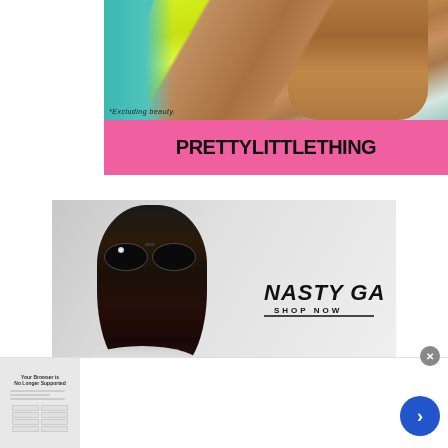[Figure (photo): PrettyLittleThing advertisement showing a model in a neon yellow lace-up swimsuit, with pink banner and brand name]
[Figure (photo): Nasty Gal advertisement showing a close-up of a model wearing large dark sunglasses, with 'NASTY GAL — SHOP NOW' text on the right]
[Figure (advertisement): Bottom banner ad for enutritionist.org: 'Boost your health with expert nutrition', visit enutritionist.org/ to learn more, www.enutritionist.org]